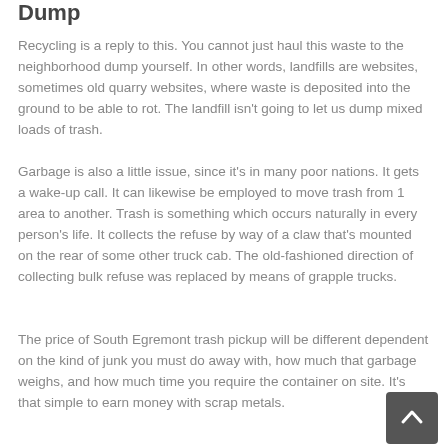Dump
Recycling is a reply to this. You cannot just haul this waste to the neighborhood dump yourself. In other words, landfills are websites, sometimes old quarry websites, where waste is deposited into the ground to be able to rot. The landfill isn't going to let us dump mixed loads of trash.
Garbage is also a little issue, since it's in many poor nations. It gets a wake-up call. It can likewise be employed to move trash from 1 area to another. Trash is something which occurs naturally in every person's life. It collects the refuse by way of a claw that's mounted on the rear of some other truck cab. The old-fashioned direction of collecting bulk refuse was replaced by means of grapple trucks.
The price of South Egremont trash pickup will be different dependent on the kind of junk you must do away with, how much that garbage weighs, and how much time you require the container on site. It's that simple to earn money with scrap metals.